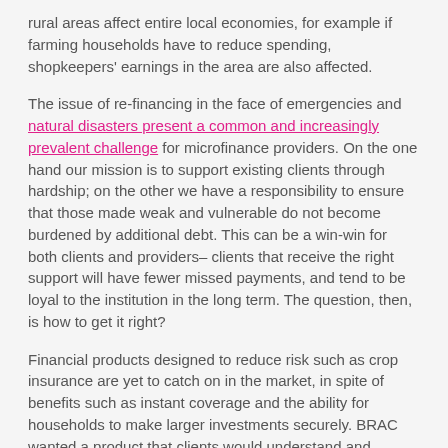rural areas affect entire local economies, for example if farming households have to reduce spending, shopkeepers' earnings in the area are also affected.
The issue of re-financing in the face of emergencies and natural disasters present a common and increasingly prevalent challenge for microfinance providers. On the one hand our mission is to support existing clients through hardship; on the other we have a responsibility to ensure that those made weak and vulnerable do not become burdened by additional debt. This can be a win-win for both clients and providers– clients that receive the right support will have fewer missed payments, and tend to be loyal to the institution in the long term. The question, then, is how to get it right?
Financial products designed to reduce risk such as crop insurance are yet to catch on in the market, in spite of benefits such as instant coverage and the ability for households to make larger investments securely. BRAC wanted a product that clients would understand and demand, and that could issue finance immediately after clients were hit.